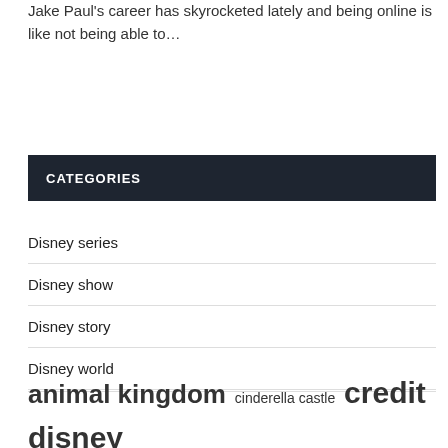Jake Paul's career has skyrocketed lately and being online is like not being able to…
CATEGORIES
Disney series
Disney show
Disney story
Disney world
animal kingdom cinderella castle credit disney disney animal disney channel disney belle disney car…